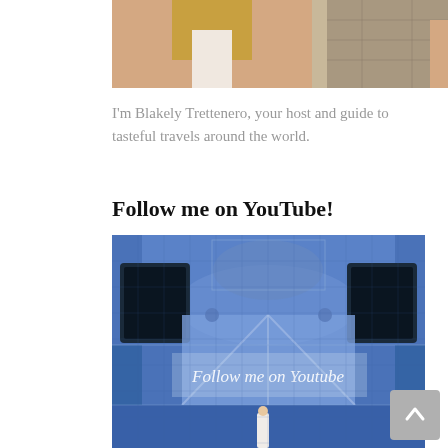[Figure (photo): Cropped photo of a woman with long blonde hair, appears to be a travel blogger photo]
I'm Blakely Trettenero, your host and guide to tasteful travels around the world.
Follow me on YouTube!
[Figure (photo): Blue and white Portuguese azulejo tile wall on a church facade with ornate baroque decorations and figures; text overlay reads 'Follow me on Youtube' in script font; a woman in white dress stands at the bottom center]